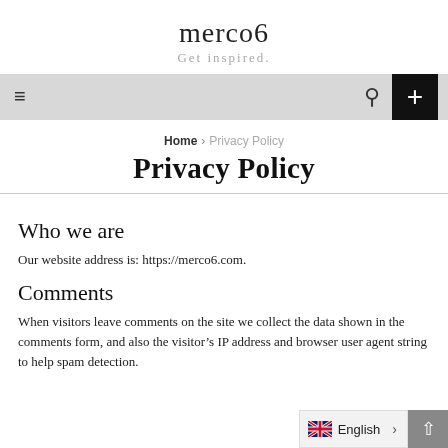merco6
Get inspired.
Home › Privacy Policy
Privacy Policy
Who we are
Our website address is: https://merco6.com.
Comments
When visitors leave comments on the site we collect the data shown in the comments form, and also the visitor's IP address and browser user agent string to help spam detection.